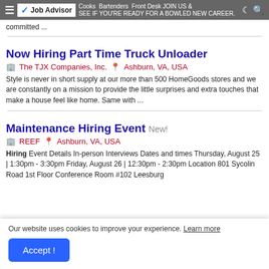Job Advisor — Cooks, Bartenders, Front Desk JOIN US & SEE IF YOU'RE READY FOR A BOWLED NEW CAREER
committed ...
Now Hiring Part Time Truck Unloader
The TJX Companies, Inc.  Ashburn, VA, USA
Style is never in short supply at our more than 500 HomeGoods stores and we are constantly on a mission to provide the little surprises and extra touches that make a house feel like home. Same with ...
Maintenance Hiring Event New!
REEF  Ashburn, VA, USA
Hiring Event Details In-person Interviews Dates and times Thursday, August 25 | 1:30pm - 3:30pm Friday, August 26 | 12:30pm - 2:30pm Location 801 Sycolin Road 1st Floor Conference Room #102 Leesburg
Our website uses cookies to improve your experience. Learn more
Accept !